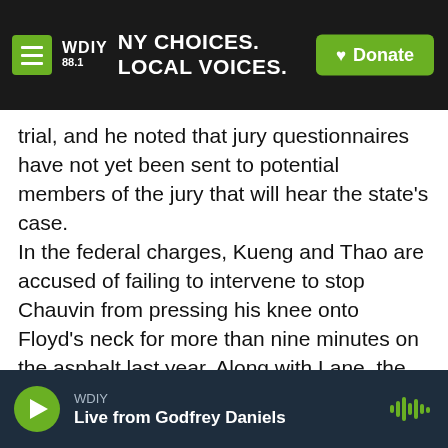WDIY 88.1 — NY CHOICES. LOCAL VOICES. [Donate]
trial, and he noted that jury questionnaires have not yet been sent to potential members of the jury that will hear the state's case.
In the federal charges, Kueng and Thao are accused of failing to intervene to stop Chauvin from pressing his knee onto Floyd's neck for more than nine minutes on the asphalt last year. Along with Lane, the former officers also face charges that they showed "deliberate indifference" to Floyd's suffering, by failing to provide medical care.
Kueng, 27, and Lane, 38, were the first officers to
WDIY — Live from Godfrey Daniels